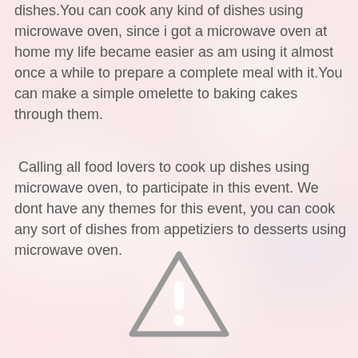dishes.You can cook any kind of dishes using microwave oven, since i got a microwave oven at home my life became easier as am using it almost once a while to prepare a complete meal with it.You can make a simple omelette to baking cakes through them.
Calling all food lovers to cook up dishes using microwave oven, to participate in this event. We dont have any themes for this event, you can cook any sort of dishes from appetiziers to desserts using microwave oven.
[Figure (illustration): A gray warning/caution triangle icon with an exclamation mark inside, centered in the lower half of the page.]